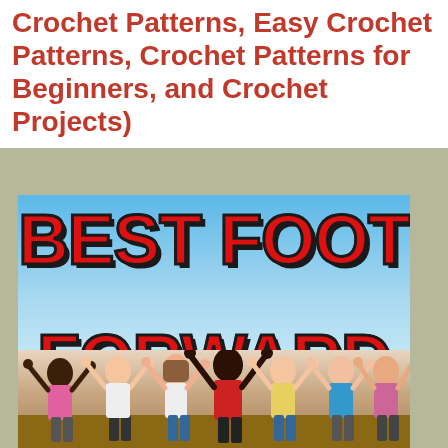Crochet Patterns, Easy Crochet Patterns, Crochet Patterns for Beginners, and Crochet Projects)
[Figure (illustration): Book cover for 'Best Foot Forward: A Student Success Guide with Life Skills Strategies for the Road Ahead'. Large bold red comic-style text reads 'BEST FOOT FORWARD' against a blue sky background. Below the title is a subtitle line. At the bottom, a group of diverse young people (students) are shown with their arms raised in celebration.]